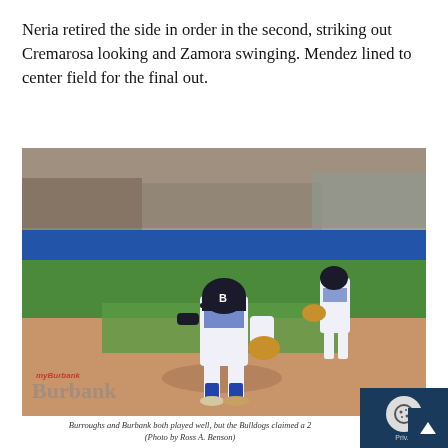Neria retired the side in order in the second, striking out Cremarosa looking and Zamora swinging. Mendez lined to center field for the final out.
[Figure (photo): Baseball player in white Bulldogs uniform in fielding stance in the infield, with another Bulldogs player visible in background at right. Blue outfield wall visible, spectators in background stands. myBurbank watermark visible in lower left.]
Burroughs and Burbank both played well, but the Bulldogs claimed a 2… (Photo by Ross A. Benson)